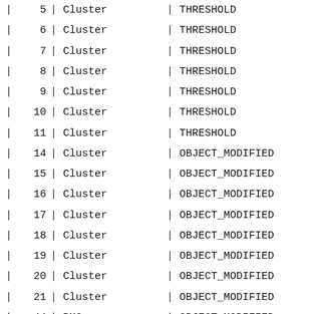|  | ID |  | Type |  | Event |
| --- | --- | --- | --- | --- | --- |
| | | 5 | | | Cluster | | | THRESHOLD |
| | | 6 | | | Cluster | | | THRESHOLD |
| | | 7 | | | Cluster | | | THRESHOLD |
| | | 8 | | | Cluster | | | THRESHOLD |
| | | 9 | | | Cluster | | | THRESHOLD |
| | | 10 | | | Cluster | | | THRESHOLD |
| | | 11 | | | Cluster | | | THRESHOLD |
| | | 14 | | | Cluster | | | OBJECT_MODIFIED |
| | | 15 | | | Cluster | | | OBJECT_MODIFIED |
| | | 16 | | | Cluster | | | OBJECT_MODIFIED |
| | | 17 | | | Cluster | | | OBJECT_MODIFIED |
| | | 18 | | | Cluster | | | OBJECT_MODIFIED |
| | | 19 | | | Cluster | | | OBJECT_MODIFIED |
| | | 20 | | | Cluster | | | OBJECT_MODIFIED |
| | | 21 | | | Cluster | | | OBJECT_MODIFIED |
| | | 44 | | | BMC | | | OBJECT_MODIFIED |
| | | 45 | | | CNode | | | OBJECT_MODIFIED |
| | | 48 | | | CNode | | | OBJECT_MODIFIED |
| | | 49 | | | CNode | | | THRESHOLD |